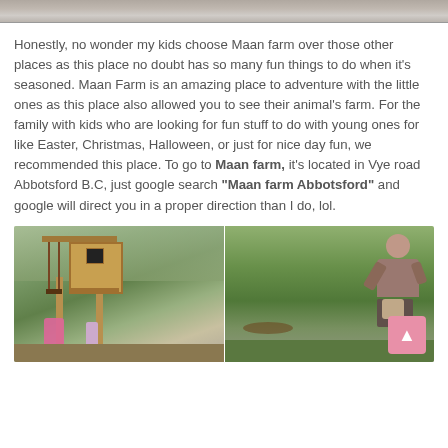[Figure (photo): Top portion of an outdoor photo, partially visible at the top of the page]
Honestly, no wonder my kids choose Maan farm over those other places as this place no doubt has so many fun things to do when it's seasoned. Maan Farm is an amazing place to adventure with the little ones as this place also allowed you to see their animal's farm. For the family with kids who are looking for fun stuff to do with young ones for like Easter, Christmas, Halloween, or just for nice day fun, we recommended this place. To go to Maan farm, it's located in Vye road Abbotsford B.C, just google search "Maan farm Abbotsford" and google will direct you in a proper direction than I do, lol.
[Figure (photo): Two photos side by side: left shows a wooden playground/treehouse structure with a child in pink on a swing; right shows a person crouching on green grass]